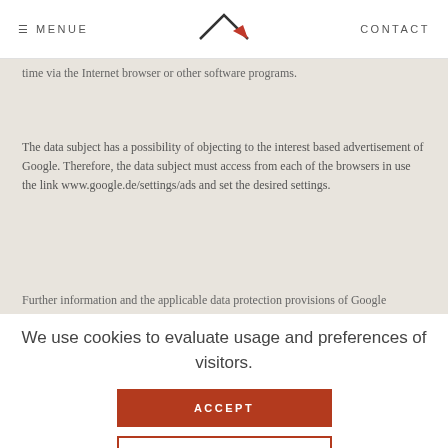≡ MENUE   CONTACT
time via the Internet browser or other software programs.
The data subject has a possibility of objecting to the interest based advertisement of Google. Therefore, the data subject must access from each of the browsers in use the link www.google.de/settings/ads and set the desired settings.
Further information and the applicable data protection provisions of Google
We use cookies to evaluate usage and preferences of visitors.
ACCEPT
PRIVACY POLICY